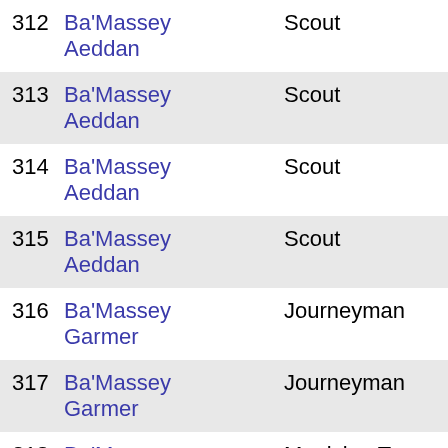| # | Name | Role |
| --- | --- | --- |
| 312 | Ba'Massey Aeddan | Scout |
| 313 | Ba'Massey Aeddan | Scout |
| 314 | Ba'Massey Aeddan | Scout |
| 315 | Ba'Massey Aeddan | Scout |
| 316 | Ba'Massey Garmer | Journeyman |
| 317 | Ba'Massey Garmer | Journeyman |
| 318 | Ba'Massey Gaxy | Magician Tr |
| 319 | Ba'Naer Breggie | Hawker |
| 320 | Ba'Naer Breggie | Hawker |
| 321 | Ba'Naer | Hawker |